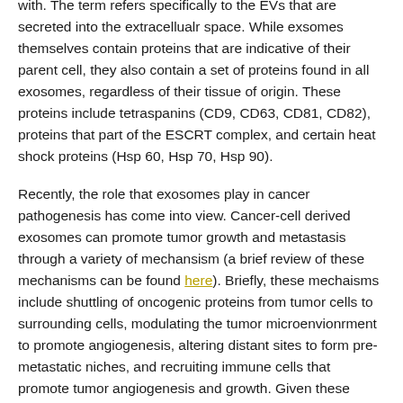with. The term refers specifically to the EVs that are secreted into the extracellualr space. While exsomes themselves contain proteins that are indicative of their parent cell, they also contain a set of proteins found in all exosomes, regardless of their tissue of origin. These proteins include tetraspanins (CD9, CD63, CD81, CD82), proteins that part of the ESCRT complex, and certain heat shock proteins (Hsp 60, Hsp 70, Hsp 90).
Recently, the role that exosomes play in cancer pathogenesis has come into view. Cancer-cell derived exosomes can promote tumor growth and metastasis through a variety of mechansism (a brief review of these mechanisms can be found here). Briefly, these mechaisms include shuttling of oncogenic proteins from tumor cells to surrounding cells, modulating the tumor microenvionrment to promote angiogenesis, altering distant sites to form pre-metastatic niches, and recruiting immune cells that promote tumor angiogenesis and growth. Given these pathological roles that exosomes play in tumorigenesis, exosomes are becoming a target of cancer therapy.